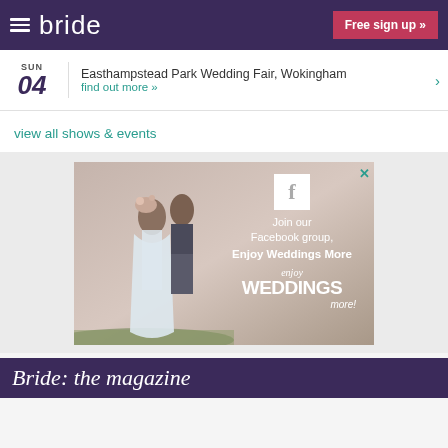bride   Free sign up »
SUN 04  Easthampstead Park Wedding Fair, Wokingham  find out more »
view all shows & events
[Figure (photo): Facebook advertisement showing a couple embracing in a field with text: Join our Facebook group, Enjoy Weddings More, enjoy WEDDINGS more!]
Bride: the magazine